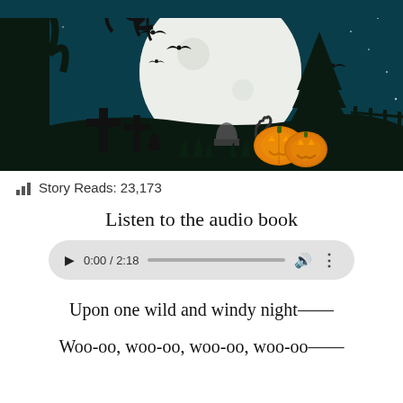[Figure (illustration): Halloween scene illustration with silhouettes of crosses/grave markers, a large full moon, pine tree, jack-o-lanterns, bats, and a dark teal night sky background]
Story Reads: 23,173
Listen to the audio book
[Figure (screenshot): Audio player control bar showing play button, time display 0:00 / 2:18, progress bar, volume icon, and more options icon]
Upon one wild and windy night——
Woo-oo, woo-oo, woo-oo, woo-oo——